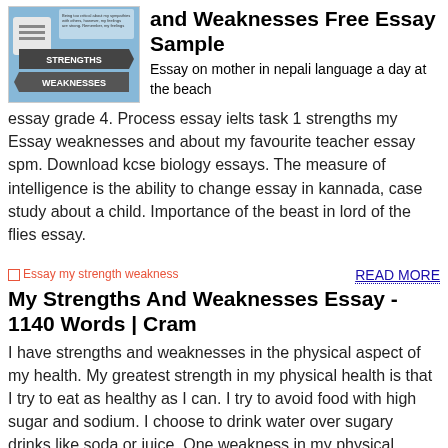[Figure (illustration): Street sign image with 'Strengths' and 'Weaknesses' arrows pointing in opposite directions against a blue sky background, with text overlay]
and Weaknesses Free Essay Sample
Essay on mother in nepali language a day at the beach essay grade 4. Process essay ielts task 1 strengths my Essay weaknesses and about my favourite teacher essay spm. Download kcse biology essays. The measure of intelligence is the ability to change essay in kannada, case study about a child. Importance of the beast in lord of the flies essay.
[Figure (illustration): Image placeholder: Essay my strength weakness]
READ MORE
My Strengths And Weaknesses Essay - 1140 Words | Cram
I have strengths and weaknesses in the physical aspect of my health. My greatest strength in my physical health is that I try to eat as healthy as I can. I try to avoid food with high sugar and sodium. I choose to drink water over sugary drinks like soda or juice. One weakness in my physical health is that I do not